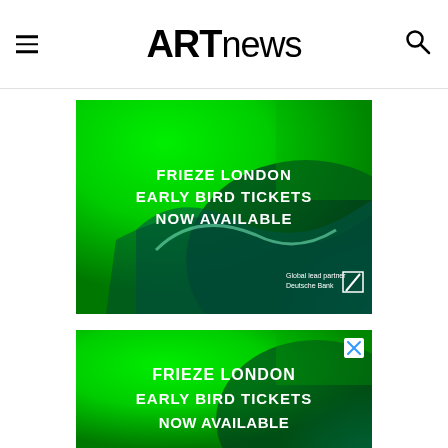ARTnews
[Figure (advertisement): Frieze London Early Bird Tickets Now Available advertisement with green swirling background. Text: FRIEZE LONDON EARLY BIRD TICKETS NOW AVAILABLE. Global lead partner Deutsche Bank logo bottom right.]
[Figure (advertisement): Second Frieze London Early Bird Tickets Now Available advertisement, same green design, with X close button top right. Text partially visible: FRIEZE LONDON EARLY BIRD TICKETS NOW AVAILABLE.]